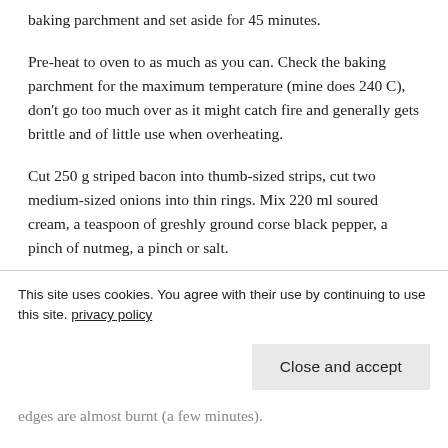baking parchment and set aside for 45 minutes.
Pre-heat to oven to as much as you can. Check the baking parchment for the maximum temperature (mine does 240 C), don't go too much over as it might catch fire and generally gets brittle and of little use when overheating.
Cut 250 g striped bacon into thumb-sized strips, cut two medium-sized onions into thin rings. Mix 220 ml soured cream, a teaspoon of greshly ground corse black pepper, a pinch of nutmeg, a pinch or salt.
Prepare one tarte at a time, as you don't want them to
This site uses cookies. You agree with their use by continuing to use this site. privacy policy
Close and accept
edges are almost burnt (a few minutes).